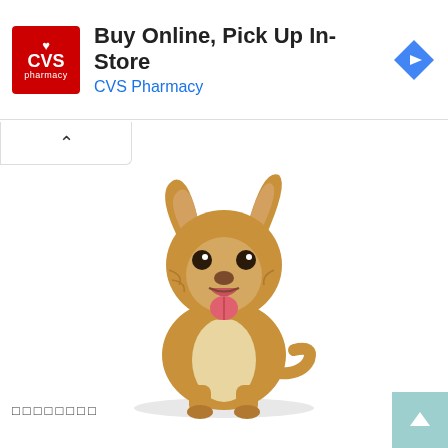[Figure (screenshot): CVS Pharmacy advertisement banner with red CVS logo on left, text 'Buy Online, Pick Up In-Store' and 'CVS Pharmacy' in blue, blue navigation diamond icon on right]
[Figure (photo): A golden/tan chihuahua dog sitting upright on white background, mouth open and tongue out, looking happy]
□□□□□□□□
[Figure (other): Teal/mint colored scroll-to-top button with upward arrow in bottom right corner]